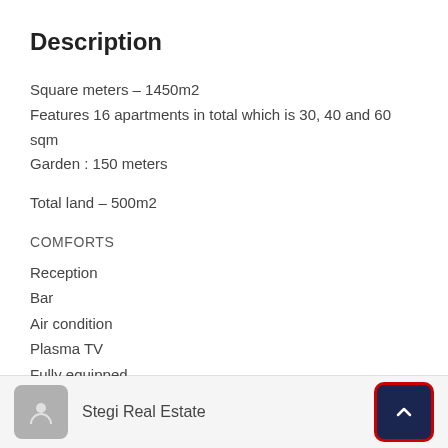Description
Square meters – 1450m2
Features 16 apartments in total which is 30, 40 and 60 sqm
Garden : 150 meters
Total land – 500m2
COMFORTS
Reception
Bar
Air condition
Plasma TV
Fully equipped
Stegi Real Estate